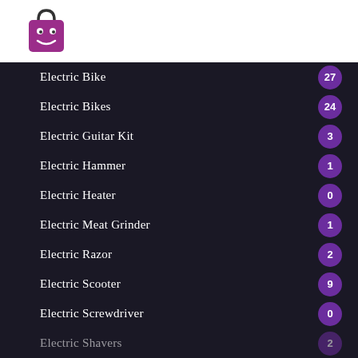[Figure (logo): Purple shopping bag logo with cartoon face (eyes and smile)]
Electric Bike  27
Electric Bikes  24
Electric Guitar Kit  3
Electric Hammer  1
Electric Heater  0
Electric Meat Grinder  1
Electric Razor  2
Electric Scooter  9
Electric Screwdriver  0
Electric Shavers  2